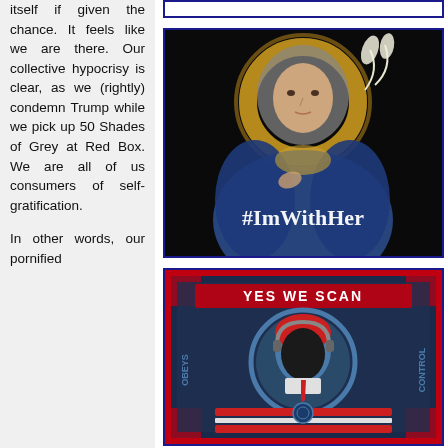itself if given the chance. It feels like we are there. Our collective hypocrisy is clear, as we (rightly) condemn Trump while we pick up 50 Shades of Grey at Red Box. We are all of us consumers of self-gratification.
In other words, our pornified
[Figure (photo): Religious painting of Virgin Mary with golden halo holding a lily, overlaid with white text '#ImWithHer']
[Figure (photo): Political poster styled like Obama 'Hope' poster, reading 'YES WE SCAN' with Obama wearing headphones, with 'OBEYS' on the left and 'CONTROL' on the right]